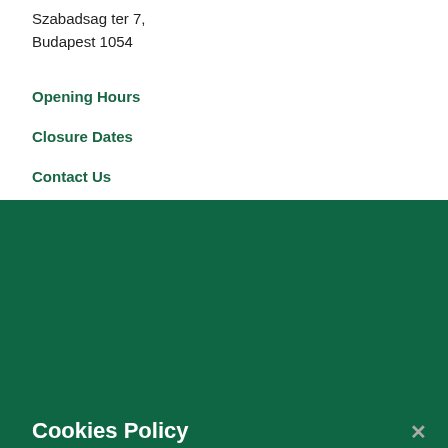Szabadsag ter 7,
Budapest 1054
Opening Hours
Closure Dates
Contact Us
Tel: +36-1-301-4960
Cookies Policy
By clicking “Accept All Cookies”, you are agreeing to the storing of cookies on your device to improve your online experience, allowing us to analyse site usage.
Cookies Settings
Reject All Optional Cookies